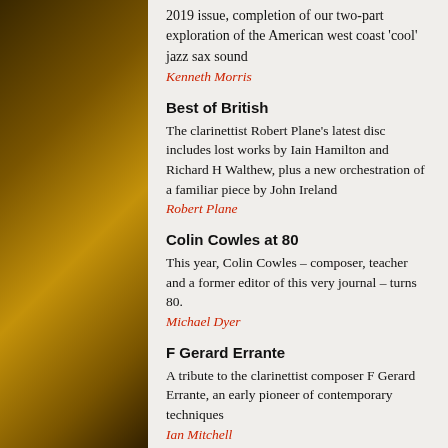2019 issue, completion of our two-part exploration of the American west coast 'cool' jazz sax sound
Kenneth Morris
Best of British
The clarinettist Robert Plane's latest disc includes lost works by Iain Hamilton and Richard H Walthew, plus a new orchestration of a familiar piece by John Ireland
Robert Plane
Colin Cowles at 80
This year, Colin Cowles – composer, teacher and a former editor of this very journal – turns 80.
Michael Dyer
F Gerard Errante
A tribute to the clarinettist composer F Gerard Errante, an early pioneer of contemporary techniques
Ian Mitchell